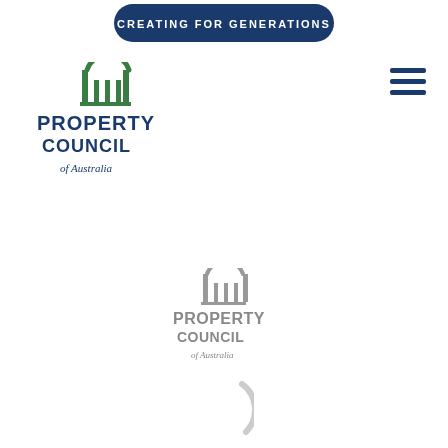[Figure (logo): Dark navy rounded rectangle banner with text 'CREATING FOR GENERATIONS' in white capitals]
[Figure (logo): Property Council of Australia logo - colored version with green arch/columns icon and blue/navy text]
[Figure (logo): Hamburger menu icon - three horizontal dark navy lines]
[Figure (logo): Property Council of Australia logo - greyscale version centered on page]
[Figure (other): Partial loading spinner arc in grey at bottom center of page]